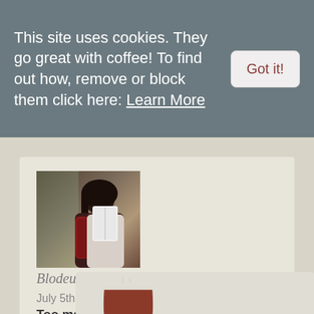This site uses cookies. They go great with coffee! To find out how, remove or block them click here: Learn More
Got it!
[Figure (photo): Profile photo of a woman reading a book, with dark hair and red lace sleeve, sitting near a window]
Blodeuedd
July 5th, 2016
Too many spiders!!!
[Figure (illustration): Partial view of a brown coffee cup with steam, labeled 'Caffeinated']